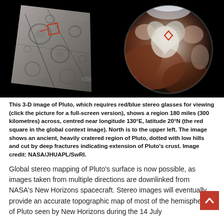[Figure (photo): Two images side by side on black background. Left: a tilted grayscale 3-D stereo image panel showing a cratered, hilly region of Pluto's surface with red outline markings. Right: a color global image of Pluto showing reddish-brown terrain, the heart-shaped Tombaugh Regio in white/pale tones, with a small red diamond marker indicating the location of the stereo image region.]
This 3-D image of Pluto, which requires red/blue stereo glasses for viewing (click the picture for a full-screen version), shows a region 180 miles (300 kilometres) across, centred near longitude 130°E, latitude 20°N (the red square in the global context image). North is to the upper left. The image shows an ancient, heavily cratered region of Pluto, dotted with low hills and cut by deep fractures indicating extension of Pluto's crust. Image credit: NASA/JHUAPL/SwRI.
Global stereo mapping of Pluto's surface is now possible, as images taken from multiple directions are downlinked from NASA's New Horizons spacecraft. Stereo images will eventually provide an accurate topographic map of most of the hemisphere of Pluto seen by New Horizons during the 14 July